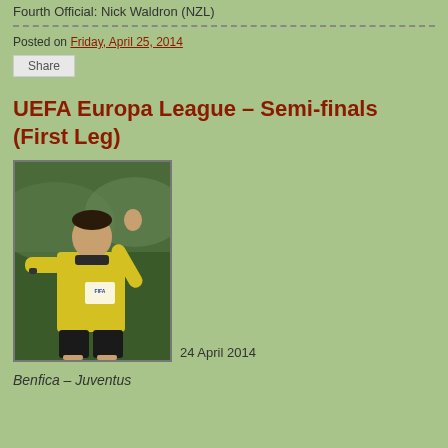Fourth Official: Nick Waldron (NZL)
Posted on Friday, April 25, 2014
Share
UEFA Europa League – Semi-finals (First Leg)
[Figure (photo): A football referee in yellow FIFA jersey raising his hand]
24 April 2014
Benfica – Juventus